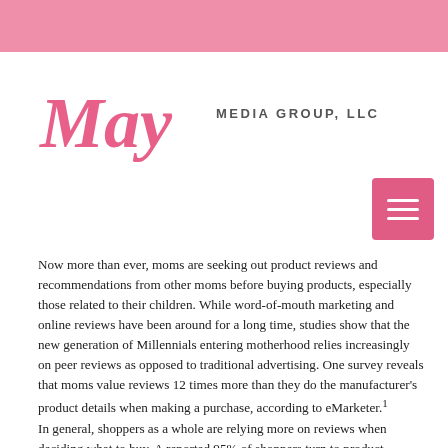[Figure (logo): May Media Group, LLC logo with stylized pink cursive 'May' and gray uppercase sans-serif 'MEDIA GROUP, LLC']
Now more than ever, moms are seeking out product reviews and recommendations from other moms before buying products, especially those related to their children. While word-of-mouth marketing and online reviews have been around for a long time, studies show that the new generation of Millennials entering motherhood relies increasingly on peer reviews as opposed to traditional advertising. One survey reveals that moms value reviews 12 times more than they do the manufacturer's product details when making a purchase, according to eMarketer.¹
In general, shoppers as a whole are relying more on reviews when deciding what to buy. A reported 95% of shoppers turn to product reviews before taking the plunge, according to The Power of Reviews survey from 2016.² BrightLocal also reports that 84% of people trust